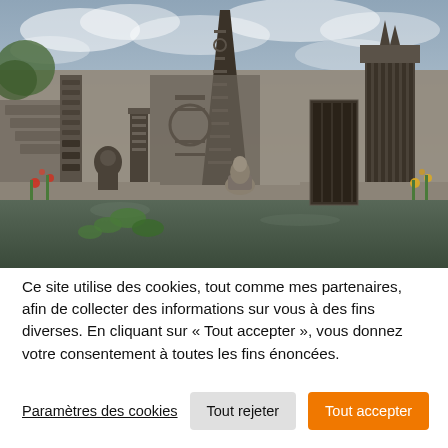[Figure (photo): Outdoor garden or park with intricate stone and mosaic sculptures, tall decorated pillars, an obelisk, and a reflecting pond with lily pads. Stone walls with ornate carvings surround the space. A crouching statue is visible near the water. The sky is overcast with clouds. Yellow and red flowers add color.]
Ce site utilise des cookies, tout comme mes partenaires, afin de collecter des informations sur vous à des fins diverses. En cliquant sur « Tout accepter », vous donnez votre consentement à toutes les fins énoncées.
Paramètres des cookies
Tout rejeter
Tout accepter